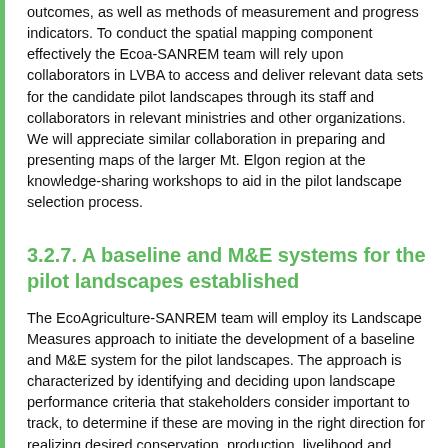outcomes, as well as methods of measurement and progress indicators. To conduct the spatial mapping component effectively the Ecoa-SANREM team will rely upon collaborators in LVBA to access and deliver relevant data sets for the candidate pilot landscapes through its staff and collaborators in relevant ministries and other organizations. We will appreciate similar collaboration in preparing and presenting maps of the larger Mt. Elgon region at the knowledge-sharing workshops to aid in the pilot landscape selection process.
3.2.7. A baseline and M&E systems for the pilot landscapes established
The EcoAgriculture-SANREM team will employ its Landscape Measures approach to initiate the development of a baseline and M&E system for the pilot landscapes. The approach is characterized by identifying and deciding upon landscape performance criteria that stakeholders consider important to track, to determine if these are moving in the right direction for realizing desired conservation, production, livelihood and institutional outcomes. We will employ our 'landscape performance scorecard' to structure conversations with groups of stakeholders to determine which performance criteria and indicators to measure, and which means of measurement to use, to ensure the M&E system is informative as well as feasible to maintain and cost-effective in the long run. The results of the landscape performance scoring exercises will contribute to the baseline description of the pilot landscapes. We will also measure at least one additional indicator within each desired outcome domain to contribute to the baseline.